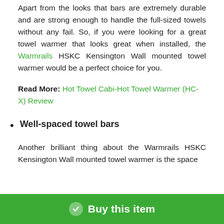Apart from the looks that bars are extremely durable and are strong enough to handle the full-sized towels without any fail. So, if you were looking for a great towel warmer that looks great when installed, the Warmrails HSKC Kensington Wall mounted towel warmer would be a perfect choice for you.
Read More: Hot Towel Cabi-Hot Towel Warmer (HC-X) Review
Well-spaced towel bars
Another brilliant thing about the Warmrails HSKC Kensington Wall mounted towel warmer is the space